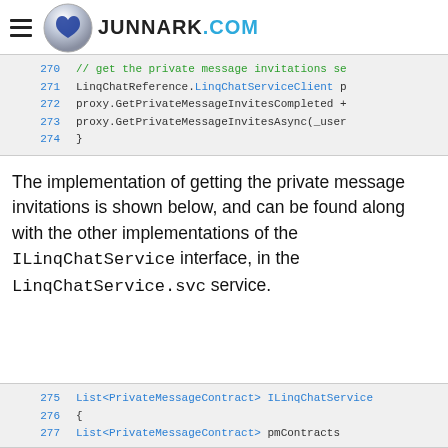JUNNARK.COM
[Figure (screenshot): Code block showing lines 270-274 with comments and LinqChatReference code]
The implementation of getting the private message invitations is shown below, and can be found along with the other implementations of the ILinqChatService interface, in the LinqChatService.svc service.
[Figure (screenshot): Code block showing lines 275-277 with List<PrivateMessageContract> ILinqChatService method]